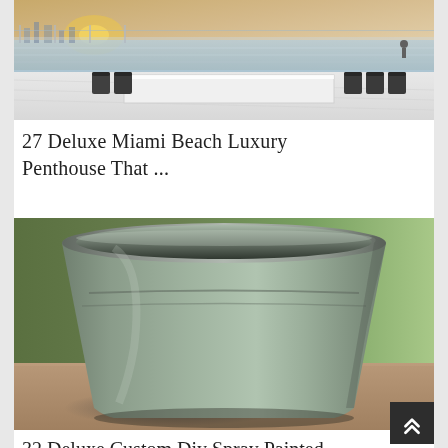[Figure (photo): Outdoor rooftop terrace with a long white dining table surrounded by black chairs, overlooking a waterfront at sunset/dusk. White tiled floor and glass railings visible.]
27 Deluxe Miami Beach Luxury Penthouse That ...
[Figure (photo): A large light grey/sage green plastic or fiberglass planter pot sitting on a pink/red tiled surface outdoors, with grass and greenery visible in the background.]
32 Deluxe Custom Diy Spray Painted